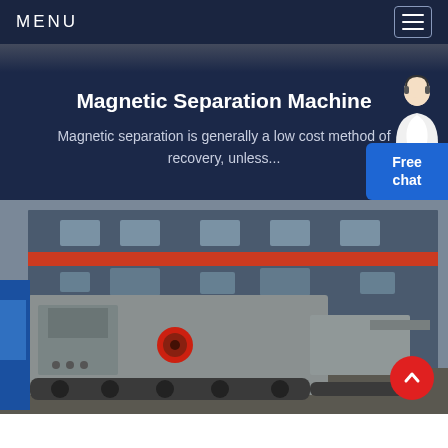MENU
Magnetic Separation Machine
Magnetic separation is generally a low cost method of recovery, unless...
[Figure (photo): Industrial magnetic separation machine / heavy mining equipment parked outside a large industrial building with blue-grey walls and red stripe accent.]